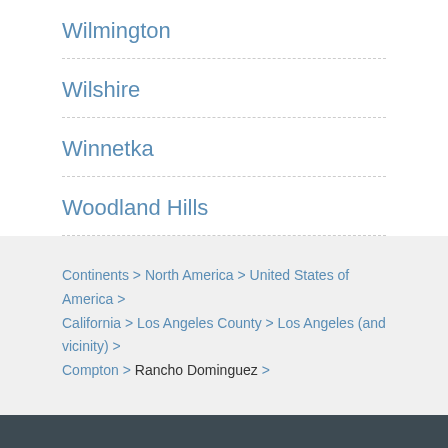Wilmington
Wilshire
Winnetka
Woodland Hills
Continents > North America > United States of America > California > Los Angeles County > Los Angeles (and vicinity) > Compton > Rancho Dominguez >
Reserve by Phone.
☎ 855-516-1092
Customer Service Help
Cancel Reservation
All Destinations
Hotels by State
Group Reservations